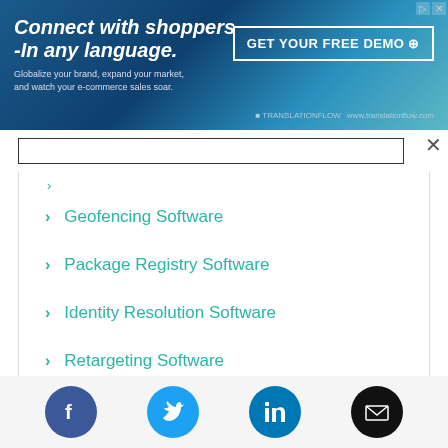[Figure (screenshot): Advertisement banner for TranslationFlow: 'Connect with shoppers -In any language.' with GET YOUR FREE DEMO button on blue-teal gradient background]
Geofencing Software
Package Registry Software
Identity Resolution Software
Retargeting Software
Click Fraud Software
[Figure (screenshot): Social media footer icons: Facebook, Twitter, LinkedIn, Email]